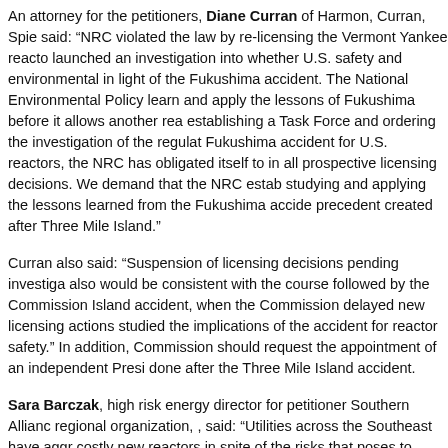An attorney for the petitioners, Diane Curran of Harmon, Curran, Spie said: “NRC violated the law by re-licensing the Vermont Yankee reacto launched an investigation into whether U.S. safety and environmental in light of the Fukushima accident. The National Environmental Policy learn and apply the lessons of Fukushima before it allows another rea establishing a Task Force and ordering the investigation of the regulat Fukushima accident for U.S. reactors, the NRC has obligated itself to in all prospective licensing decisions. We demand that the NRC estab studying and applying the lessons learned from the Fukushima accide precedent created after Three Mile Island.”
Curran also said: “Suspension of licensing decisions pending investiga also would be consistent with the course followed by the Commission Island accident, when the Commission delayed new licensing actions studied the implications of the accident for reactor safety.” In addition, Commission should request the appointment of an independent Presi done after the Three Mile Island accident.
Sara Barczak, high risk energy director for petitioner Southern Allianc regional organization, , said: “Utilities across the Southeast have aggr costly new reactors in spite of the risks that poses to ratepayers and t